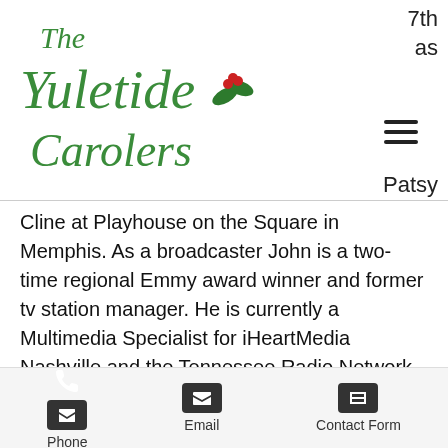[Figure (logo): The Yuletide Carolers logo in green italic script with holly decoration]
7th
as
Patsy Cline at Playhouse on the Square in Memphis. As a broadcaster John is a two-time regional Emmy award winner and former tv station manager. He is currently a Multimedia Specialist for iHeartMedia Nashville and the Tennessee Radio Network. John's an independent voice-over artist, and a writer/producer of commercial jingles. John has teamed up with Julia Wilson Nolan, to bring the harmonies of The Yuletide Carolers to Music City USA. Julia is a successful theatre director and performance coach in the Nashville area. She is a former pop star in Japan,
Phone  Email  Contact Form